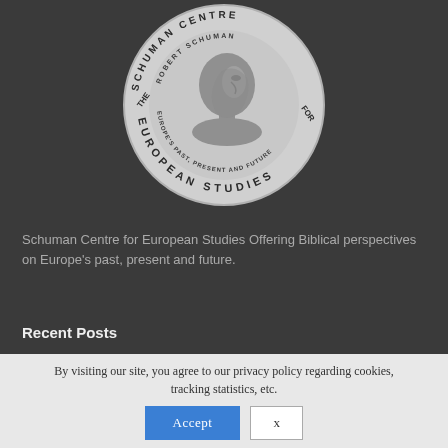[Figure (logo): Circular medallion/coin logo for the Schuman Centre for European Studies, featuring a profile portrait of Robert Schuman in the center with text reading 'THE SCHUMAN CENTRE FOR EUROPEAN STUDIES' and 'ROBERT SCHUMAN EUROPE'S PAST, PRESENT AND FUTURE' around the rim]
Schuman Centre for European Studies Offering Biblical perspectives on Europe's past, present and future.
Recent Posts
By visiting our site, you agree to our privacy policy regarding cookies, tracking statistics, etc.